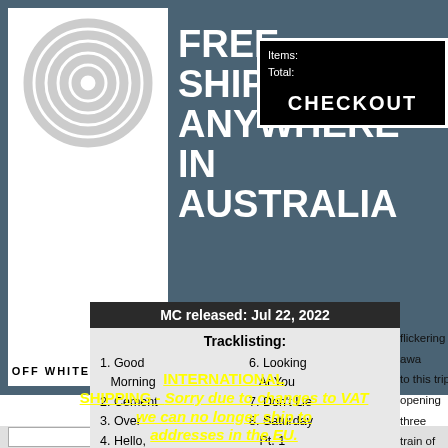[Figure (logo): Off White Records logo with concentric circles on white background]
FREE SHIPPING ANYWHERE IN AUSTRALIA
Items:
Total:
CHECKOUT
INTERNATIONAL SHIPPING - Sorry due to changes to VAT we can no longer ship to addresses in the EU.
SEARCH  NEW RELEASES  BEST S
MC released: Jul 22, 2022
Tracklisting:
1. Good Morning
2. Cement
3. Over
4. Hello,
6. Looking At You
7. Don't Lie
8. Saturday Pt. 1
flickering awa
to this trip
opening three
train of swe
salty refle